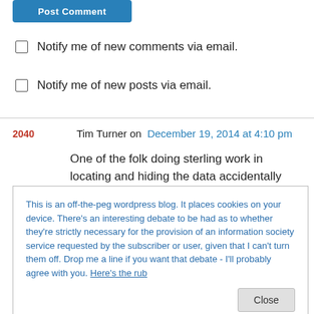[Figure (other): Blue 'Post Comment' button, partially visible at top]
Notify me of new comments via email.
Notify me of new posts via email.
2040   Tim Turner on December 19, 2014 at 4:10 pm
One of the folk doing sterling work in locating and hiding the data accidentally uploaded to What Do They Know told me that one of the
This is an off-the-peg wordpress blog. It places cookies on your device. There's an interesting debate to be had as to whether they're strictly necessary for the provision of an information society service requested by the subscriber or user, given that I can't turn them off. Drop me a line if you want that debate - I'll probably agree with you. Here's the rub
Close
more in the document than intended. Definitely